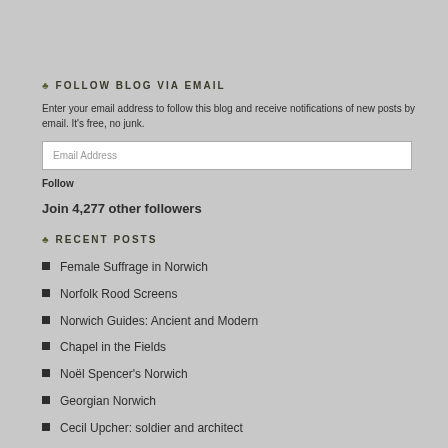♣ FOLLOW BLOG VIA EMAIL
Enter your email address to follow this blog and receive notifications of new posts by email. It's free, no junk.
Follow
Join 4,277 other followers
♣ RECENT POSTS
Female Suffrage in Norwich
Norfolk Rood Screens
Norwich Guides: Ancient and Modern
Chapel in the Fields
Noël Spencer's Norwich
Georgian Norwich
Cecil Upcher: soldier and architect